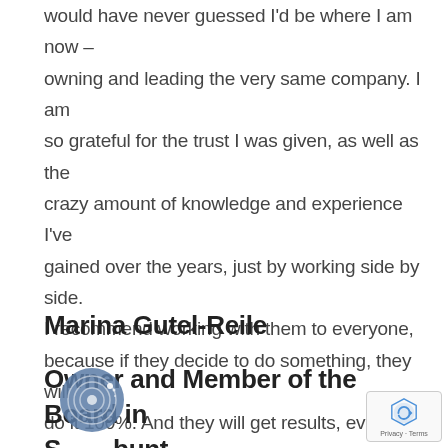would have never guessed I'd be where I am now – owning and leading the very same company. I am so grateful for the trust I was given, as well as the crazy amount of knowledge and experience I've gained over the years, just by working side by side. I recommend working with them to everyone, because if they decide to do something, they will do it 100%. And they will get results, every single time.
Marina Gutel-Reile
Owner and Member of the Board in Scubunt